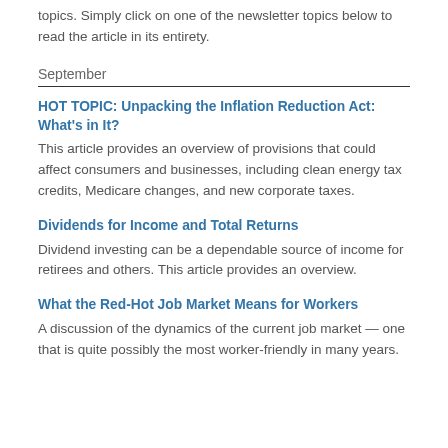topics. Simply click on one of the newsletter topics below to read the article in its entirety.
September
HOT TOPIC: Unpacking the Inflation Reduction Act: What's in It?
This article provides an overview of provisions that could affect consumers and businesses, including clean energy tax credits, Medicare changes, and new corporate taxes.
Dividends for Income and Total Returns
Dividend investing can be a dependable source of income for retirees and others. This article provides an overview.
What the Red-Hot Job Market Means for Workers
A discussion of the dynamics of the current job market — one that is quite possibly the most worker-friendly in many years.